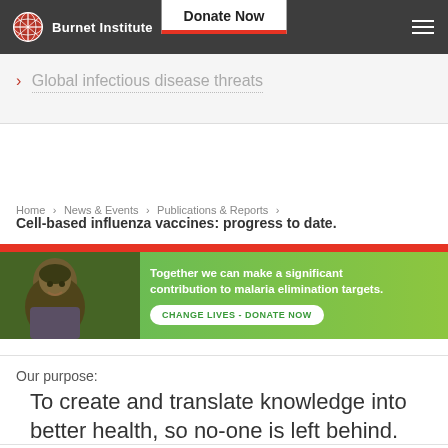Burnet Institute | Donate Now
Global infectious disease threats
Home › News & Events › Publications & Reports ›
Cell-based influenza vaccines: progress to date.
[Figure (photo): Banner with photo of a smiling child and green background with text: Together we can make a significant contribution to malaria elimination targets. CHANGE LIVES - DONATE NOW]
Our purpose:
To create and translate knowledge into better health, so no-one is left behind.